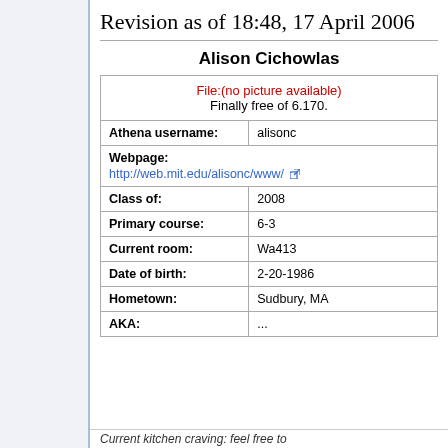Revision as of 18:48, 17 April 2006
Alison Cichowlas
| File:(no picture available)
Finally free of 6.170. |
| Athena username: | alisonc |
| Webpage:
http://web.mit.edu/alisonc/www/ |
| Class of: | 2008 |
| Primary course: | 6-3 |
| Current room: | Wa413 |
| Date of birth: | 2-20-1986 |
| Hometown: | Sudbury, MA |
| AKA: | ... |
Current kitchen craving: feel free to